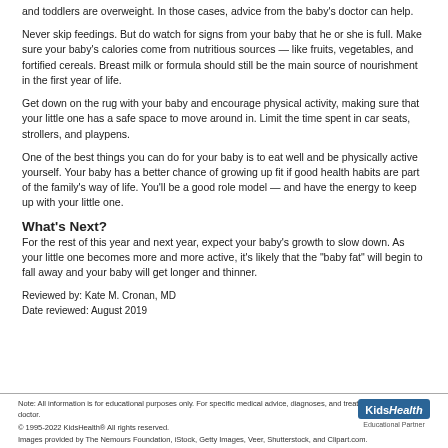and toddlers are overweight. In those cases, advice from the baby’s doctor can help.
Never skip feedings. But do watch for signs from your baby that he or she is full. Make sure your baby’s calories come from nutritious sources — like fruits, vegetables, and fortified cereals. Breast milk or formula should still be the main source of nourishment in the first year of life.
Get down on the rug with your baby and encourage physical activity, making sure that your little one has a safe space to move around in. Limit the time spent in car seats, strollers, and playpens.
One of the best things you can do for your baby is to eat well and be physically active yourself. Your baby has a better chance of growing up fit if good health habits are part of the family’s way of life. You’ll be a good role model — and have the energy to keep up with your little one.
What’s Next?
For the rest of this year and next year, expect your baby’s growth to slow down. As your little one becomes more and more active, it’s likely that the “baby fat” will begin to fall away and your baby will get longer and thinner.
Reviewed by: Kate M. Cronan, MD
Date reviewed: August 2019
Note: All information is for educational purposes only. For specific medical advice, diagnoses, and treatment, consult your doctor.
© 1995-2022 KidsHealth® All rights reserved.
Images provided by The Nemours Foundation, iStock, Getty Images, Veer, Shutterstock, and Clipart.com.
[Figure (logo): KidsHealth Educational Partner logo]